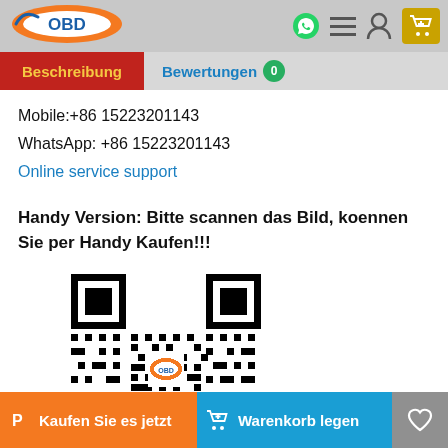[Figure (logo): OBD brand logo with orange oval and blue text]
Beschreibung | Bewertungen 0
Mobile:+86 15223201143
WhatsApp: +86 15223201143
Online service support
Handy Version: Bitte scannen das Bild, koennen Sie per Handy Kaufen!!!
[Figure (other): QR code with OBD logo in the center for mobile purchase]
Kaufen Sie es jetzt | Warenkorb legen